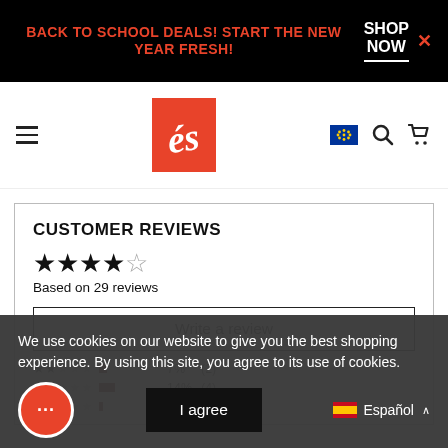BACK TO SCHOOL DEALS! START THE NEW YEAR FRESH! SHOP NOW
[Figure (logo): és skate brand logo — white script on red rectangle background]
CUSTOMER REVIEWS
★★★★☆ Based on 29 reviews
Write a review
We use cookies on our website to give you the best shopping experience. By using this site, you agree to its use of cookies.
I agree
7% (2)
14% (4)
3% (1)
Español